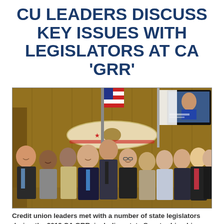CU LEADERS DISCUSS KEY ISSUES WITH LEGISLATORS AT CA 'GRR'
[Figure (photo): Group photo of approximately 11 credit union leaders posing together in a legislative office with wood-paneled walls, an American flag, a California flag, a California bear surfboard plaque on the wall, and a TV screen visible in the upper right corner.]
Credit union leaders met with a number of state legislators during the 2019 CA GRR, including state Senator Ling Ling Chang, R-Diamond Bar.